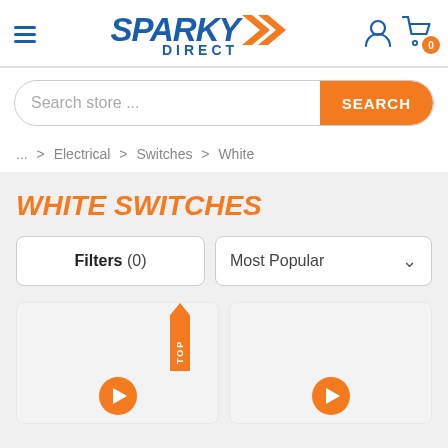[Figure (screenshot): Sparky Direct e-commerce website header with logo, hamburger menu, user and cart icons]
Search store ...
... > Electrical > Switches > White
WHITE SWITCHES
Filters (0)
Most Popular
[Figure (screenshot): Two product cards with orange play buttons; first card has TOP badge]